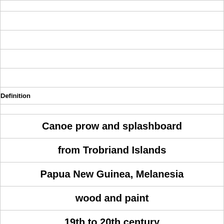|  |
|  |
|  |
|  |
|  |
| Definition |
|  |
| Canoe prow and splashboard |
| from Trobriand Islands |
| Papua New Guinea, Melanesia |
| wood and paint |
| 19th to 20th century |
|  |
|  |
| Term |